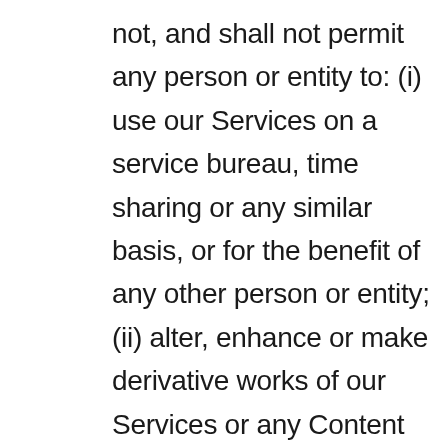not, and shall not permit any person or entity to: (i) use our Services on a service bureau, time sharing or any similar basis, or for the benefit of any other person or entity; (ii) alter, enhance or make derivative works of our Services or any Content available through the foregoing; or (iii) reverse engineer, reverse assemble or decompile, or otherwise attempt to derive source code from, our Services. You shall not sell, transfer, publish, disclose, display or otherwise make available our Services including without limitation any modifications, enhancements, derivatives or other software or materials provided hereunder by us or copies